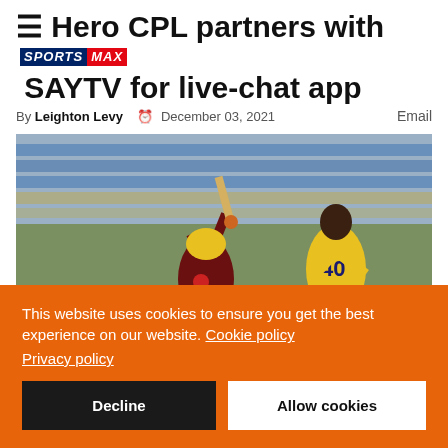Hero CPL partners with SPORTSMAX SAYTV for live-chat app
By Leighton Levy  December 03, 2021  Email
[Figure (photo): Cricket match photo showing a batsman in a yellow helmet and dark red jersey raising his bat in celebration, with a fielder wearing jersey number 40 (HOLDER) in a yellow uniform in the foreground. Spectators visible in blue stadium seats in the background.]
This website uses cookies to ensure you get the best experience on our website. Cookie policy
Privacy policy
Decline   Allow cookies